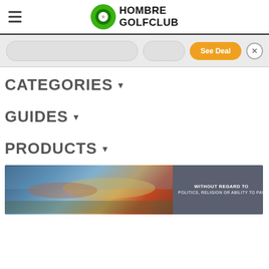HOMBRE GOLFCLUB
[Figure (screenshot): Ad banner with search input area, orange 'See Deal' button, and close X button]
CATEGORIES ▾
GUIDES ▾
PRODUCTS ▾
[Figure (photo): Advertisement banner showing cargo plane loading with text 'WITHOUT REGARD TO POLITICS, RELIGION OR ABILITY TO PAY']